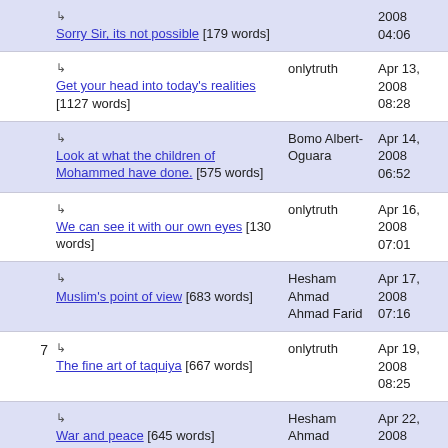| # | Title | Author | Date |
| --- | --- | --- | --- |
|  | ↳ Sorry Sir, its not possible [179 words] |  | 2008 04:06 |
|  | ↳ Get your head into today's realities [1127 words] | onlytruth | Apr 13, 2008 08:28 |
|  | ↳ Look at what the children of Mohammed have done. [575 words] | Bomo Albert-Oguara | Apr 14, 2008 06:52 |
|  | ↳ We can see it with our own eyes [130 words] | onlytruth | Apr 16, 2008 07:01 |
|  | ↳ Muslim's point of view [683 words] | Hesham Ahmad Ahmad Farid | Apr 17, 2008 07:16 |
| 7 | ↳ The fine art of taquiya [667 words] | onlytruth | Apr 19, 2008 08:25 |
|  | ↳ War and peace [645 words] | Hesham Ahmad Ahmad Farid | Apr 22, 2008 05:08 |
|  | ↳ UN 1441 [450 words] | onlytruth | Apr 23, 2008 07:16 |
|  | ↳ Hesham Ahmad: Some facts… | Viking Woman | Apr 25, 2008 |